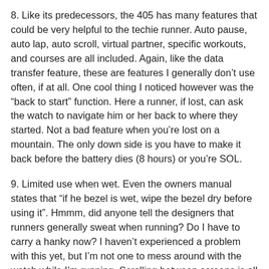8. Like its predecessors, the 405 has many features that could be very helpful to the techie runner. Auto pause, auto lap, auto scroll, virtual partner, specific workouts, and courses are all included. Again, like the data transfer feature, these are features I generally don't use often, if at all. One cool thing I noticed however was the “back to start” function. Here a runner, if lost, can ask the watch to navigate him or her back to where they started. Not a bad feature when you’re lost on a mountain. The only down side is you have to make it back before the battery dies (8 hours) or you’re SOL.
9. Limited use when wet. Even the owners manual states that “if he bezel is wet, wipe the bezel dry before using it”. Hmmm, did anyone tell the designers that runners generally sweat when running? Do I have to carry a hanky now? I haven’t experienced a problem with this yet, but I’m not one to mess around with the watch while I’m running. Scrolling between screens is all I need on the run and the auto scroll feature should take care of this. Auto scroll allows the user to design three customized screens for workouts and the watch will automatically scroll through these screens.